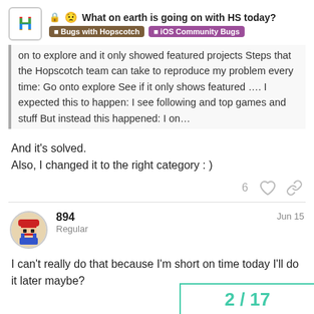What on earth is going on with HS today? | Bugs with Hopscotch | iOS Community Bugs
on to explore and it only showed featured projects Steps that the Hopscotch team can take to reproduce my problem every time: Go onto explore See if it only shows featured …. I expected this to happen: I see following and top games and stuff But instead this happened: I on…
And it's solved.
Also, I changed it to the right category : )
6 likes, share
894
Regular
Jun 15
I can't really do that because I'm short on time today I'll do it later maybe?
2 / 17